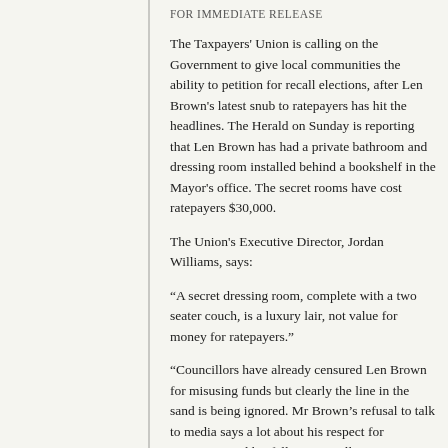FOR IMMEDIATE RELEASE
The Taxpayers' Union is calling on the Government to give local communities the ability to petition for recall elections, after Len Brown's latest snub to ratepayers has hit the headlines. The Herald on Sunday is reporting that Len Brown has had a private bathroom and dressing room installed behind a bookshelf in the Mayor's office. The secret rooms have cost ratepayers $30,000.
The Union's Executive Director, Jordan Williams, says:
“A secret dressing room, complete with a two seater couch, is a luxury lair, not value for money for ratepayers.”
“Councillors have already censured Len Brown for misusing funds but clearly the line in the sand is being ignored. Mr Brown’s refusal to talk to media says a lot about his respect for ratepayers and his fellow councillors.”
“It’s time the Government gave ratepayers a voice